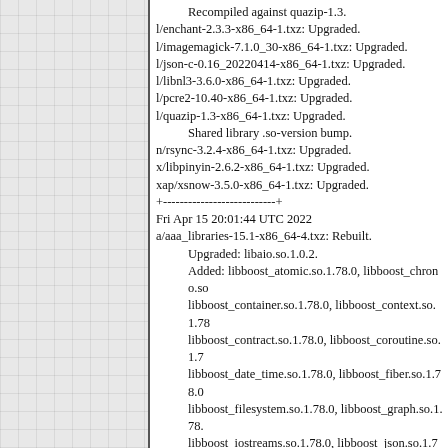Recompiled against quazip-1.3.
l/enchant-2.3.3-x86_64-1.txz: Upgraded.
l/imagemagick-7.1.0_30-x86_64-1.txz: Upgraded.
l/json-c-0.16_20220414-x86_64-1.txz: Upgraded.
l/libnl3-3.6.0-x86_64-1.txz: Upgraded.
l/pcre2-10.40-x86_64-1.txz: Upgraded.
l/quazip-1.3-x86_64-1.txz: Upgraded.
    Shared library .so-version bump.
n/rsync-3.2.4-x86_64-1.txz: Upgraded.
x/libpinyin-2.6.2-x86_64-1.txz: Upgraded.
xap/xsnow-3.5.0-x86_64-1.txz: Upgraded.
+---------------------------+
Fri Apr 15 20:01:44 UTC 2022
a/aaa_libraries-15.1-x86_64-4.txz: Rebuilt.
    Upgraded: libaio.so.1.0.2.
    Added: libboost_atomic.so.1.78.0, libboost_chrono.so... libboost_container.so.1.78.0, libboost_context.so.1.78... libboost_contract.so.1.78.0, libboost_coroutine.so.1.7... libboost_date_time.so.1.78.0, libboost_fiber.so.1.78.0... libboost_filesystem.so.1.78.0, libboost_graph.so.1.78.... libboost_iostreams.so.1.78.0, libboost_json.so.1.78.0,... libboost_locale.so.1.78.0, libboost_log.so.1.78.0,... libboost_log_setup.so.1.78.0, libboost_math_c99.so.1... libboost_math_c99f.so.1.78.0, libboost_math_c99l.so... libboost_math_tr1.so.1.78.0, libboost_math_tr1f.so.1.... libboost_math_tr1l.so.1.78.0, libboost_nowide.so.1.78... libboost_prg_exec_monitor.so.1.78.0, libboost_progra... libboost_python27.so.1.78.0, libboost_python39.so.1...